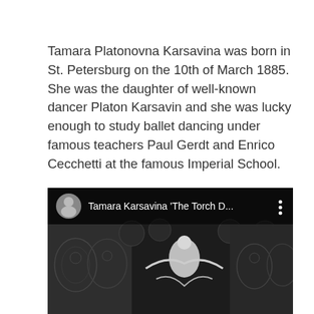Tamara Platonovna Karsavina was born in St. Petersburg on the 10th of March 1885.  She was the daughter of well-known dancer Platon Karsavin and she was lucky enough to study ballet dancing under famous teachers Paul Gerdt and Enrico Cecchetti at the famous Imperial School.
[Figure (screenshot): A video thumbnail/player screenshot showing a black and white image of a dancer performing, with a dark overlay bar at the top showing a circular avatar portrait and the title 'Tamara Karsavina ‘The Torch D...' with a vertical three-dot menu icon on the right.]